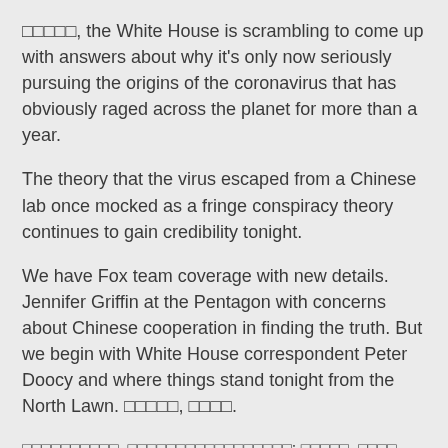□□□□□, the White House is scrambling to come up with answers about why it's only now seriously pursuing the origins of the coronavirus that has obviously raged across the planet for more than a year.
The theory that the virus escaped from a Chinese lab once mocked as a fringe conspiracy theory continues to gain credibility tonight.
We have Fox team coverage with new details. Jennifer Griffin at the Pentagon with concerns about Chinese cooperation in finding the truth. But we begin with White House correspondent Peter Doocy and where things stand tonight from the North Lawn. □□□□□, □□□□.
□□□□□□□□□□, □□□□□□□□□□□□□□□□□: □□□□□, □□□□. □□□□□□□□□□□□□□□□□□□□□□□□□□□□□□□□□□□□□□□□□□□□□□□□□□□□□□□□□□. □□□□COVID-19□□□□□□□□□□□□□□.